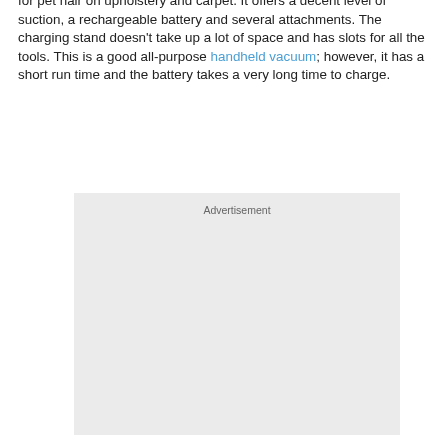for pet hair on upholstery and carpet. It offers a decent level of suction, a rechargeable battery and several attachments. The charging stand doesn't take up a lot of space and has slots for all the tools. This is a good all-purpose handheld vacuum; however, it has a short run time and the battery takes a very long time to charge.
[Figure (other): Advertisement placeholder box with light grey background and 'Advertisement' label at top center]